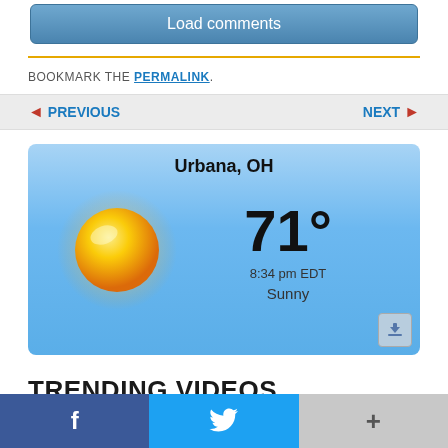Load comments
BOOKMARK THE PERMALINK.
◄ PREVIOUS    NEXT ►
[Figure (infographic): Weather widget showing Urbana, OH with sunny weather, 71 degrees, 8:34 pm EDT, Sunny. Large yellow sun graphic on blue sky gradient background.]
TRENDING VIDEOS
f  (Facebook share button)
🐦 (Twitter share button)
+ (More share button)